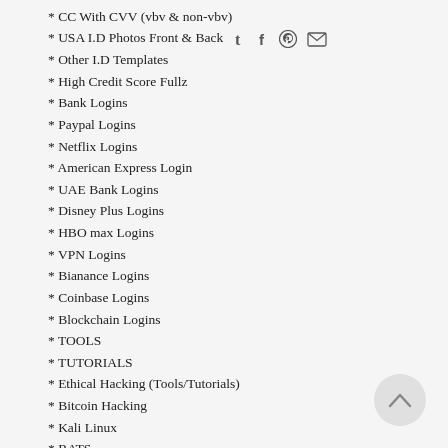* CC With CVV (vbv & non-vbv)
* USA I.D Photos Front & Back
* Other I.D Templates
* High Credit Score Fullz
* Bank Logins
* Paypal Logins
* Netflix Logins
* American Express Login
* UAE Bank Logins
* Disney Plus Logins
* HBO max Logins
* VPN Logins
* Bianance Logins
* Coinbase Logins
* Blockchain Logins
* TOOLS
* TUTORIALS
* Ethical Hacking (Tools/Tutorials)
* Bitcoin Hacking
* Kali Linux
* RATS
* Keylogger
* Bitcoin Flasher
* SQL Injector
* SMTP Linux Root